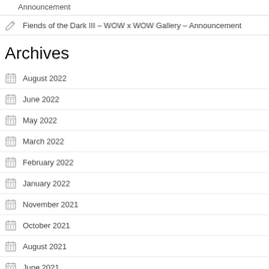Announcement
Fiends of the Dark III – WOW x WOW Gallery – Announcement
Archives
August 2022
June 2022
May 2022
March 2022
February 2022
January 2022
November 2021
October 2021
August 2021
June 2021